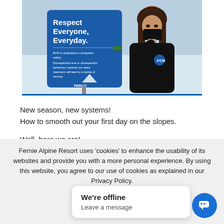[Figure (photo): A woman wearing a black mask and black jacket standing next to a blue sign that reads 'Respect Everyone, Everyday.' The sign mentions BCR workplace safety policy about disrespectful behavior. She is pointing at or touching the sign. Snow is visible in the background.]
New season, new systems!
How to smooth out your first day on the slopes.
Well, here we are!
Fernie Alpine Resort uses 'cookies' to enhance the usability of its websites and provide you with a more personal experience. By using this website, you agree to our use of cookies as explained in our Privacy Policy.
We're offline
Leave a message